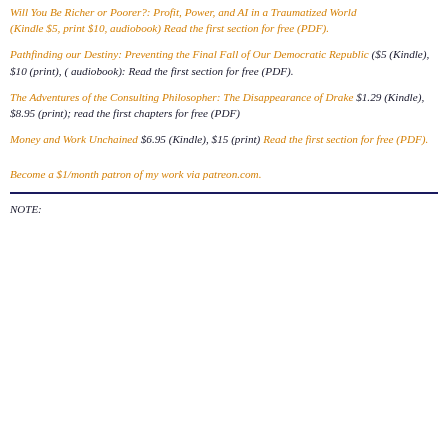Will You Be Richer or Poorer?: Profit, Power, and AI in a Traumatized World (Kindle $5, print $10, audiobook) Read the first section for free (PDF).
Pathfinding our Destiny: Preventing the Final Fall of Our Democratic Republic ($5 (Kindle), $10 (print), ( audiobook): Read the first section for free (PDF).
The Adventures of the Consulting Philosopher: The Disappearance of Drake $1.29 (Kindle), $8.95 (print); read the first chapters for free (PDF)
Money and Work Unchained $6.95 (Kindle), $15 (print) Read the first section for free (PDF).
Become a $1/month patron of my work via patreon.com.
NOTE: